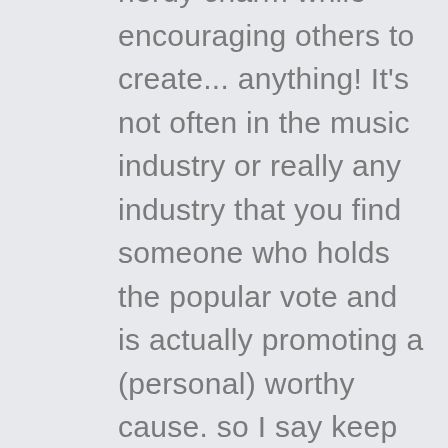nerdy charm while encouraging others to create... anything! It's not often in the music industry or really any industry that you find someone who holds the popular vote and is actually promoting a (personal) worthy cause. so I say keep arguing about who he really is. put his name in every forum and give him all the publicity he wants, because thats what your doing. wheather or not he's real or not, he's good enough on camera, and thats good enough for me. keep making good music Ronald Jenkees,